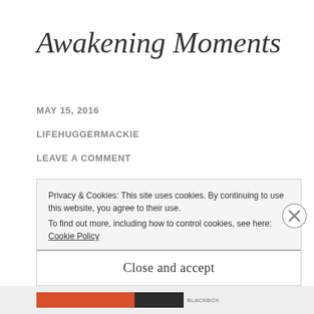Awakening Moments
MAY 15, 2016
LIFEHUGGERMACKIE
LEAVE A COMMENT
Moments in our lives that we tend to question God why we exist. Sometimes we are surprised
Privacy & Cookies: This site uses cookies. By continuing to use this website, you agree to their use.
To find out more, including how to control cookies, see here: Cookie Policy
Close and accept